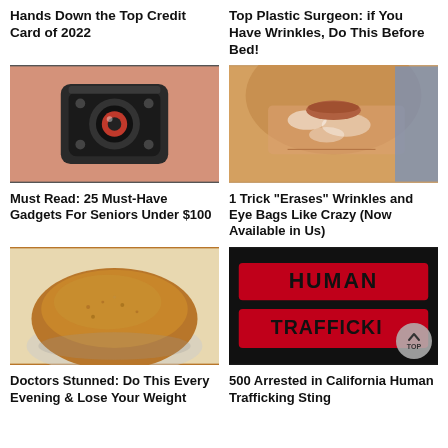Hands Down the Top Credit Card of 2022
Top Plastic Surgeon: if You Have Wrinkles, Do This Before Bed!
[Figure (photo): Close-up photo of a small spy/mini camera device held between fingers]
[Figure (photo): Close-up photo of a person's lower face and chin area showing textured/flaky skin]
Must Read: 25 Must-Have Gadgets For Seniors Under $100
1 Trick "Erases" Wrinkles and Eye Bags Like Crazy (Now Available in Us)
[Figure (photo): Photo of a mound of brown spice powder on a surface]
[Figure (photo): Photo of a red banner/fabric with text HUMAN TRAFFICKING stamped on it in black letters]
Doctors Stunned: Do This Every Evening & Lose Your Weight
500 Arrested in California Human Trafficking Sting